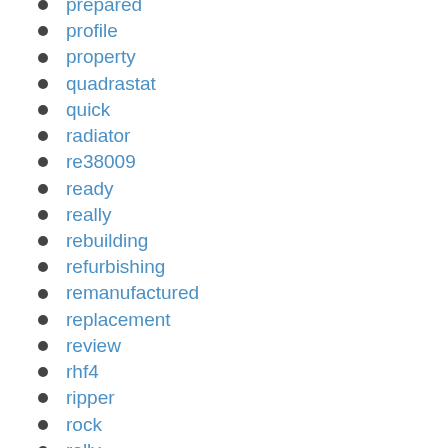prepared
profile
property
quadrastat
quick
radiator
re38009
ready
really
rebuilding
refurbishing
remanufactured
replacement
review
rhf4
ripper
rock
rolly
root
rotating
rows
salt